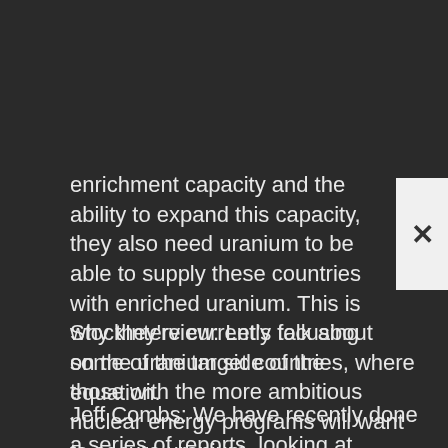enrichment capacity and the ability to expand this capacity, they also need uranium to be able to supply these countries with enriched uranium. This is why they're currently focusing on the uranium side of the equation.
StockInterview: Let's talk about some of the target countries, where those with the more ambitious nuclear energy programs will want to secure uranium.
Jeff Combs: We have recently done a series of reports, looking at countries where major production is taking place, or could take place. Of course we've done them on Canada, Australia, Namibia, South Africa, Kazakhstan, and Uzbekistan. I think the next country might be Mongolia because of the exploration and development activity